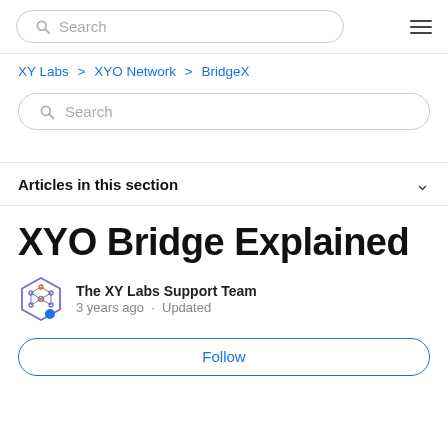Search
XY Labs > XYO Network > BridgeX
Search
Articles in this section
XYO Bridge Explained
The XY Labs Support Team
3 years ago · Updated
Follow